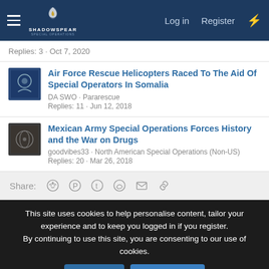ShadowSpear Special Operations — Log in | Register
Replies: 3 · Oct 7, 2020
Air Force Rescue Helicopters Raced To The Aid Of Special Operators In Somalia
DA SWO · Pararescue
Replies: 11 · Jun 12, 2018
Mexican Army Special Operations Forces History and the War on Drugs
goodvibes33 · North American Special Operations (Non-US)
Replies: 20 · Mar 26, 2018
Share:
This site uses cookies to help personalise content, tailor your experience and to keep you logged in if you register.
By continuing to use this site, you are consenting to our use of cookies.